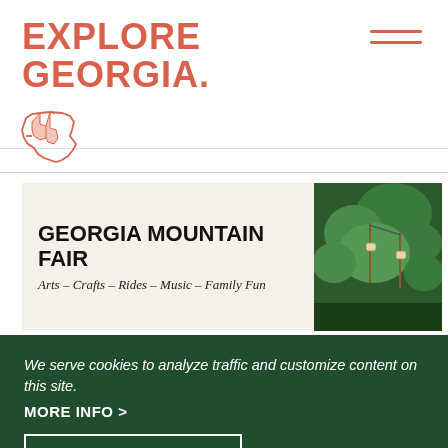EXPLORE GEORGIA.
[Figure (logo): Outline map of Georgia state in salmon/coral color]
[Figure (illustration): Georgia Mountain Fair banner showing trees and cable cars on right side. Text: GEORGIA MOUNTAIN FAIR / Arts - Crafts - Rides - Music - Family Fun]
We serve cookies to analyze traffic and customize content on this site.
MORE INFO >
I AGREE